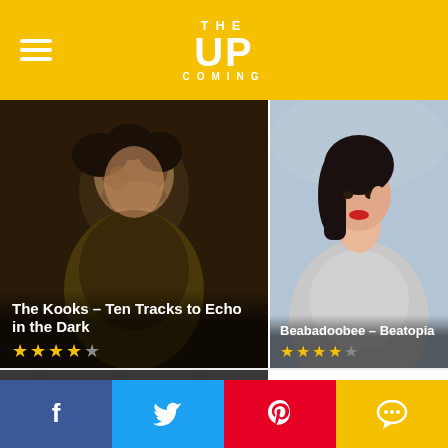THE UPCOMING
[Figure (photo): Young man with curly hair in a dark jacket looking downward — The Kooks album cover photo]
The Kooks – Ten Tracks to Echo in the Dark
★★★★☆ (4 out of 5 stars)
[Figure (photo): Young Asian woman holding her hair, looking at camera — Beabadoobee Beatopia photo]
Beabadoobee – Beatopia
★★★★☆ (4.5 out of 5 stars)
[Figure (photo): Black and white photo of band members standing outside brick wall — Interpol photo]
Interpol – The Other Side of Make-Believe
★★★☆☆ (3 out of 5 stars)
Social share bar: Facebook, Twitter, Pinterest, Comments